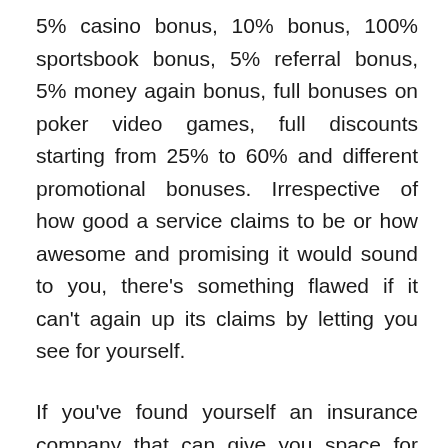5% casino bonus, 10% bonus, 100% sportsbook bonus, 5% referral bonus, 5% money again bonus, full bonuses on poker video games, full discounts starting from 25% to 60% and different promotional bonuses. Irrespective of how good a service claims to be or how awesome and promising it would sound to you, there's something flawed if it can't again up its claims by letting you see for yourself.
If you've found yourself an insurance company that can give you space for your cashback, however, in case your insurance stays unused at a given level, then choose that firm. When it comes to putting bets on horse racing, essentially, the most cash can be gained if an extended shot comes in first. To put cash on a horse, it